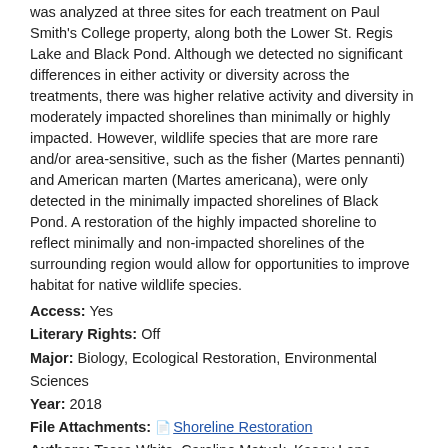was analyzed at three sites for each treatment on Paul Smith's College property, along both the Lower St. Regis Lake and Black Pond. Although we detected no significant differences in either activity or diversity across the treatments, there was higher relative activity and diversity in moderately impacted shorelines than minimally or highly impacted. However, wildlife species that are more rare and/or area-sensitive, such as the fisher (Martes pennanti) and American marten (Martes americana), were only detected in the minimally impacted shorelines of Black Pond. A restoration of the highly impacted shoreline to reflect minimally and non-impacted shorelines of the surrounding region would allow for opportunities to improve habitat for native wildlife species.
Access: Yes
Literary Rights: Off
Major: Biology, Ecological Restoration, Environmental Sciences
Year: 2018
File Attachments: Shoreline Restoration
Authors: Tessa White, Caroline Matuck, Kasey Lane, Rosemary Bloodnick, Kyle Pasanen, Annalee Kraai
A Taste of Paul Smith's & The Adirondacks
Sun, 12/09/2018 - 15:50